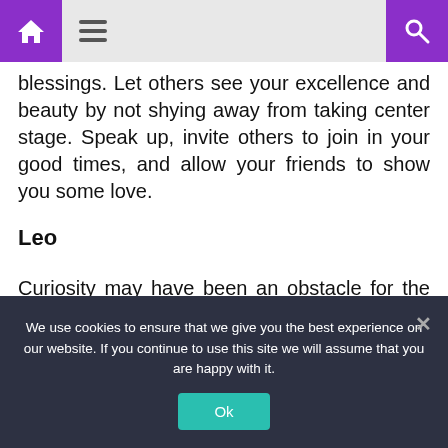Navigation bar with home, menu, and search icons
blessings. Let others see your excellence and beauty by not shying away from taking center stage. Speak up, invite others to join in your good times, and allow your friends to show you some love.
Leo
Curiosity may have been an obstacle for the common house cat, but not you! Your fierce vibe
We use cookies to ensure that we give you the best experience on our website. If you continue to use this site we will assume that you are happy with it.